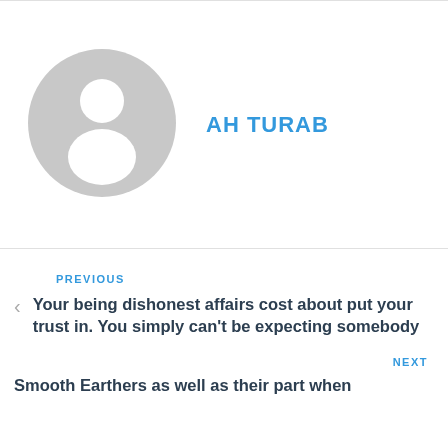[Figure (illustration): Generic user avatar: grey circle with white silhouette of a person (head and shoulders)]
AH TURAB
PREVIOUS
Your being dishonest affairs cost about put your trust in. You simply can't be expecting somebody
NEXT
Smooth Earthers as well as their part when